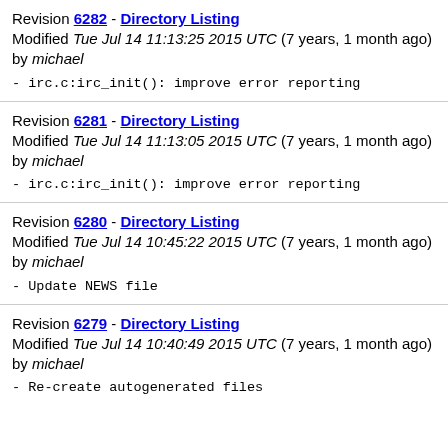Revision 6282 - Directory Listing
Modified Tue Jul 14 11:13:25 2015 UTC (7 years, 1 month ago) by michael
- irc.c:irc_init(): improve error reporting
Revision 6281 - Directory Listing
Modified Tue Jul 14 11:13:05 2015 UTC (7 years, 1 month ago) by michael
- irc.c:irc_init(): improve error reporting
Revision 6280 - Directory Listing
Modified Tue Jul 14 10:45:22 2015 UTC (7 years, 1 month ago) by michael
- Update NEWS file
Revision 6279 - Directory Listing
Modified Tue Jul 14 10:40:49 2015 UTC (7 years, 1 month ago) by michael
- Re-create autogenerated files